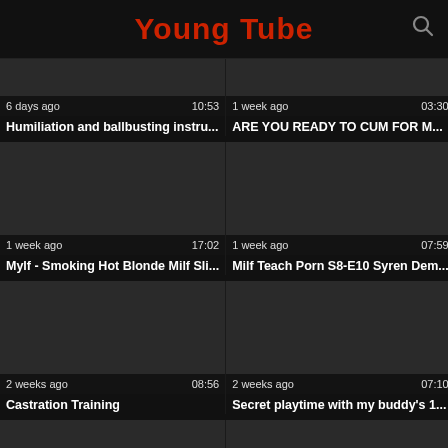Young Tube
[Figure (screenshot): Video thumbnail dark, 6 days ago, 10:53]
Humiliation and ballbusting instru...
[Figure (screenshot): Video thumbnail dark, 1 week ago, 03:30]
ARE YOU READY TO CUM FOR M...
[Figure (screenshot): Video thumbnail dark, 1 week ago, 17:02]
Mylf - Smoking Hot Blonde Milf Sli...
[Figure (screenshot): Video thumbnail dark, 1 week ago, 07:59]
Milf Teach Porn S8-E10 Syren Dem...
[Figure (screenshot): Video thumbnail dark, 2 weeks ago, 08:56]
Castration Training
[Figure (screenshot): Video thumbnail dark, 2 weeks ago, 07:10]
Secret playtime with my buddy's 1...
[Figure (screenshot): Partial video thumbnail at bottom left]
[Figure (screenshot): Partial video thumbnail at bottom right]